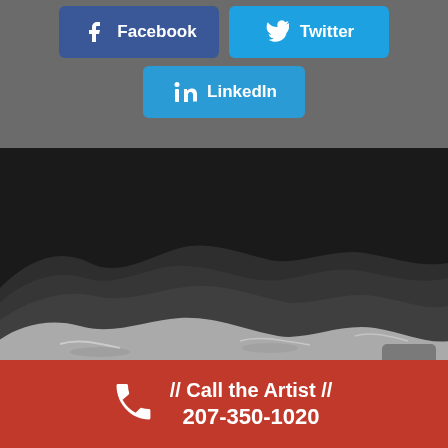[Figure (other): Social share buttons: Facebook (dark blue), Twitter (light blue), LinkedIn (medium blue) arranged with Facebook and Twitter on top row, LinkedIn centered below]
[Figure (illustration): Dark landscape illustration showing layered wave-like hills in shades of dark gray and black against a near-black sky, with lighter gray foreground waves resembling hills or dunes]
// Call the Artist // 207-350-1020